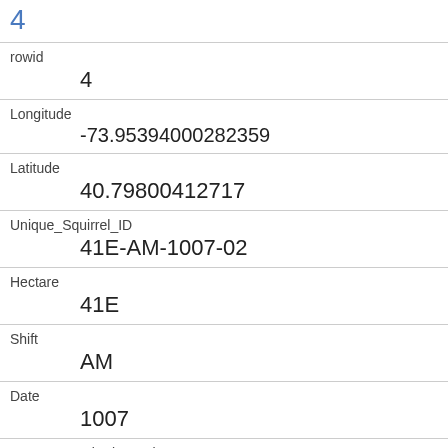4
| rowid | 4 |
| Longitude | -73.95394000282359 |
| Latitude | 40.79800412717 |
| Unique_Squirrel_ID | 41E-AM-1007-02 |
| Hectare | 41E |
| Shift | AM |
| Date | 1007 |
| Hectare_Squirrel_Number | 2 |
| Age | Adult |
| Primary_Fur_Color | Gray |